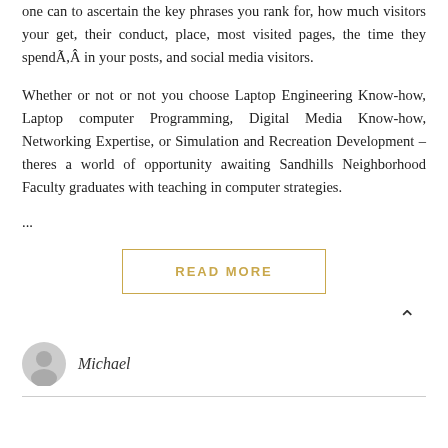one can to ascertain the key phrases you rank for, how much visitors your get, their conduct, place, most visited pages, the time they spendÃ,Â in your posts, and social media visitors.
Whether or not or not you choose Laptop Engineering Know-how, Laptop computer Programming, Digital Media Know-how, Networking Expertise, or Simulation and Recreation Development – theres a world of opportunity awaiting Sandhills Neighborhood Faculty graduates with teaching in computer strategies.
...
READ MORE
Michael